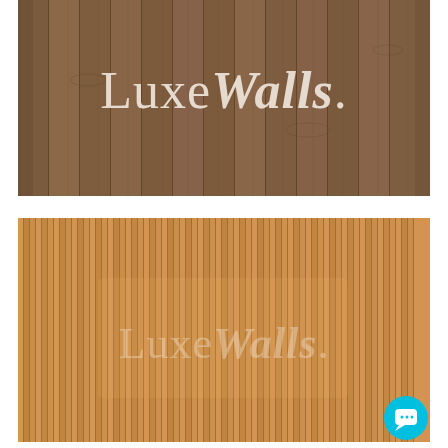[Figure (photo): Top image: horizontal wood plank wall texture in medium brown tones with the LuxeWalls logo overlaid in white/cream text centrally positioned.]
[Figure (photo): Bottom image: vertical wood slat/ribbed panel texture in light golden-tan tones with the LuxeWalls logo overlaid as a semi-transparent watermark.]